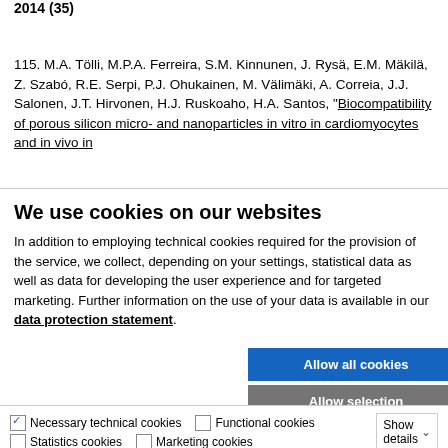2014 (35)
115. M.A. Tölli, M.P.A. Ferreira, S.M. Kinnunen, J. Rysä, E.M. Mäkilä, Z. Szabó, R.E. Serpi, P.J. Ohukainen, M. Välimäki, A. Correia, J.J. Salonen, J.T. Hirvonen, H.J. Ruskoaho, H.A. Santos, "Biocompatibility of porous silicon micro- and nanoparticles in vitro in cardiomyocytes and in vivo in
We use cookies on our websites
In addition to employing technical cookies required for the provision of the service, we collect, depending on your settings, statistical data as well as data for developing the user experience and for targeted marketing. Further information on the use of your data is available in our data protection statement.